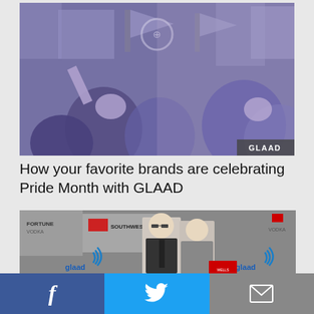[Figure (photo): Crowd scene at a Pride parade, tinted blue-purple, with a GLAAD watermark badge in the bottom right corner]
How your favorite brands are celebrating Pride Month with GLAAD
[Figure (photo): Two people posing at a GLAAD event, with Southwest Airlines and other sponsor logos visible on a step-and-repeat backdrop]
Facebook share | Twitter share | Email share